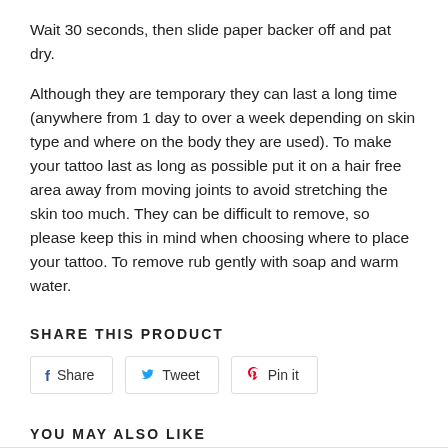Wait 30 seconds, then slide paper backer off and pat dry.
Although they are temporary they can last a long time (anywhere from 1 day to over a week depending on skin type and where on the body they are used). To make your tattoo last as long as possible put it on a hair free area away from moving joints to avoid stretching the skin too much. They can be difficult to remove, so please keep this in mind when choosing where to place your tattoo. To remove rub gently with soap and warm water.
SHARE THIS PRODUCT
Share  Tweet  Pin it
YOU MAY ALSO LIKE